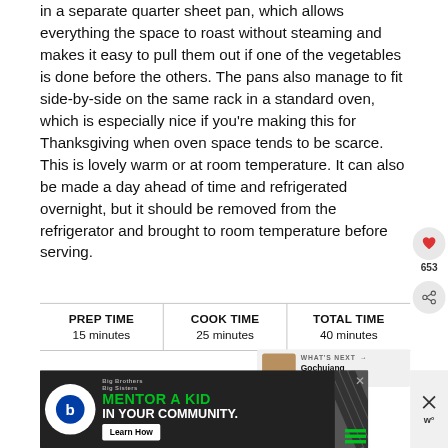in a separate quarter sheet pan, which allows everything the space to roast without steaming and makes it easy to pull them out if one of the vegetables is done before the others. The pans also manage to fit side-by-side on the same rack in a standard oven, which is especially nice if you're making this for Thanksgiving when oven space tends to be scarce. This is lovely warm or at room temperature. It can also be made a day ahead of time and refrigerated overnight, but it should be removed from the refrigerator and brought to room temperature before serving.
| PREP TIME | COOK TIME | TOTAL TIME |
| --- | --- | --- |
| 15 minutes | 25 minutes | 40 minutes |
[Figure (screenshot): What's Next widget showing 'Gochujang Roasted...' with a food thumbnail image]
[Figure (screenshot): Big Brothers Big Sisters advertisement: 'MENTOR A KID IN YOUR COMMUNITY.' with Learn How button]